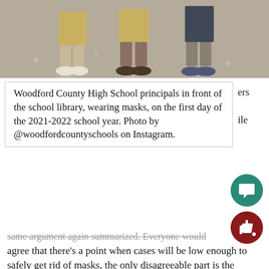[Figure (photo): Photo showing the feet and lower legs of Woodford County High School principals standing on a tiled floor, wearing masks on the first day of the 2021-2022 school year.]
Woodford County High School principals in front of the school library, wearing masks, on the first day of the 2021-2022 school year. Photo by @woodfordcountyschools on Instagram.
agree that there's a point when cases will be low enough to safely get rid of masks, the only disagreeable part is the number of cases at which that point is. Here in Woodford County, cases have decreased from an average of 43.6 daily to only 5.6, over the last 60 days. Many would see this and think we can get rid of masks, which is a valid opinion to have; the only caveat is that the likelihood of a spike in COVID cases goes up when mask mandates are eliminated, which has been proven in the past. For example: after New York lifted mask mandates, cases started to spike and mandates had to be reintroduced near the end of 2021. Using only lo